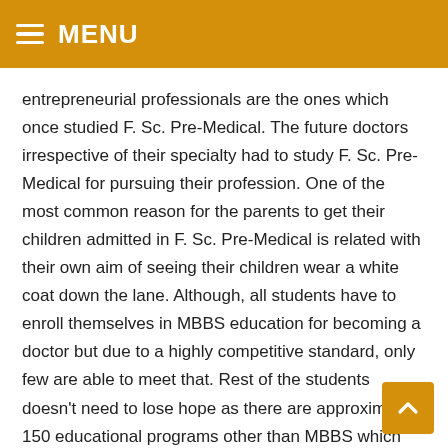MENU
entrepreneurial professionals are the ones which once studied F. Sc. Pre-Medical. The future doctors irrespective of their specialty had to study F. Sc. Pre-Medical for pursuing their profession. One of the most common reason for the parents to get their children admitted in F. Sc. Pre-Medical is related with their own aim of seeing their children wear a white coat down the lane. Although, all students have to enroll themselves in MBBS education for becoming a doctor but due to a highly competitive standard, only few are able to meet that. Rest of the students doesn't need to lose hope as there are approximately 150 educational programs other than MBBS which can be opted by them.
The professions which can be selected by medical students include becoming a doctor primarily but others include Physiotherapist, Pharmacist, Agricultural specialist,